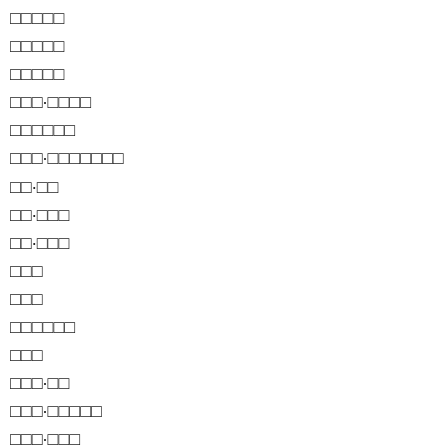□□□□□
□□□□□
□□□□□
□□□·□□□□
□□□□□□
□□□·□□□□□□□
□□·□□
□□·□□□
□□·□□□
□□□
□□□
□□□□□□
□□□
□□□·□□
□□□·□□□□□
□□□·□□□
□□□□